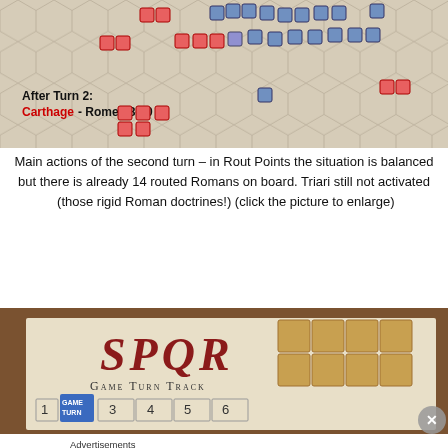[Figure (photo): Hex board game photo showing Carthage vs Rome pieces arranged on a hexagonal grid. Overlay text reads 'After Turn 2: Carthage - Rome 28-20']
Main actions of the second turn – in Rout Points the situation is balanced but there is already 14 routed Romans on board. Triari still not activated  (those rigid Roman doctrines!) (click the picture to enlarge)
[Figure (photo): Photo of SPQR board game Game Turn Track showing spaces labeled 1 through 6, with GAME TURN marker on space 2, and playing pieces stacked nearby. A close button (X) is visible in bottom right corner.]
Advertisements